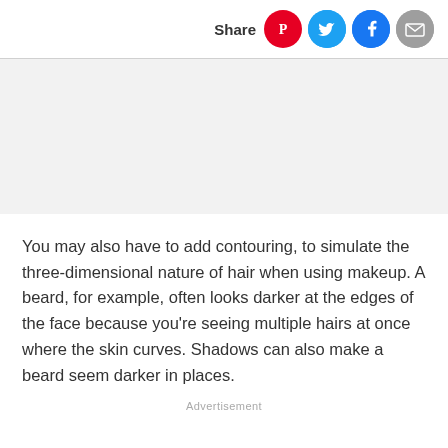Share
[Figure (other): Grey advertisement placeholder area]
You may also have to add contouring, to simulate the three-dimensional nature of hair when using makeup. A beard, for example, often looks darker at the edges of the face because you're seeing multiple hairs at once where the skin curves. Shadows can also make a beard seem darker in places.
Advertisement